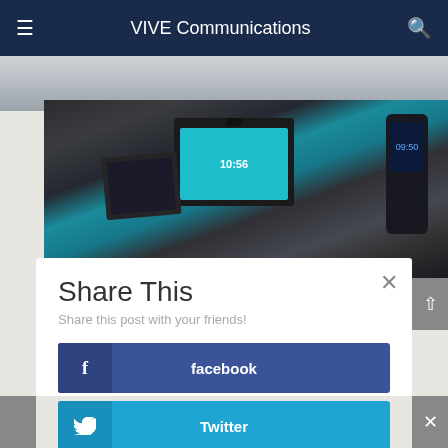VIVE Communications
[Figure (photo): Photo strip of people working at top of page]
[Figure (photo): Collection of Yealink IP phones and video conferencing devices displayed on white background]
Share This
Share this post with your friends!
facebook
Twitter
in